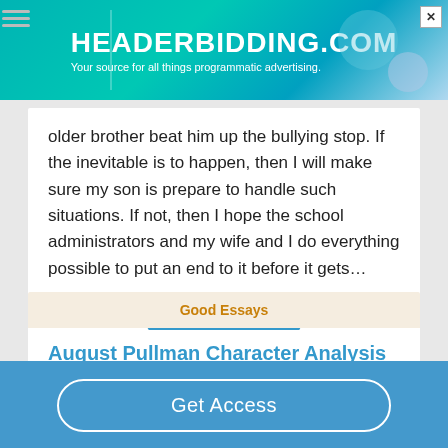[Figure (screenshot): HeaderBidding.com advertisement banner with teal/blue gradient background]
older brother beat him up the bullying stop. If the inevitable is to happen, then I will make sure my son is prepare to handle such situations. If not, then I hope the school administrators and my wife and I do everything possible to put an end to it before it gets…
Read More
Good Essays
August Pullman Character Analysis
Get Access